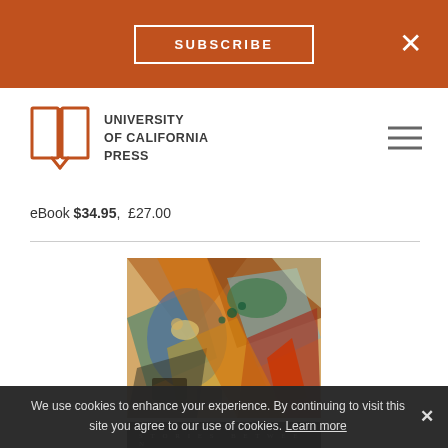SUBSCRIBE ×
[Figure (logo): University of California Press open-book logo with text: UNIVERSITY of CALIFORNIA PRESS]
eBook $34.95, £27.00
[Figure (illustration): Book cover for 'Stories Between Christianity and Islam' — colorful abstract painting on top half, black band on bottom with title text. Subtitle says STORIES BETWEEN, main title says Christianity and Islam.]
We use cookies to enhance your experience. By continuing to visit this site you agree to our use of cookies. Learn more ×